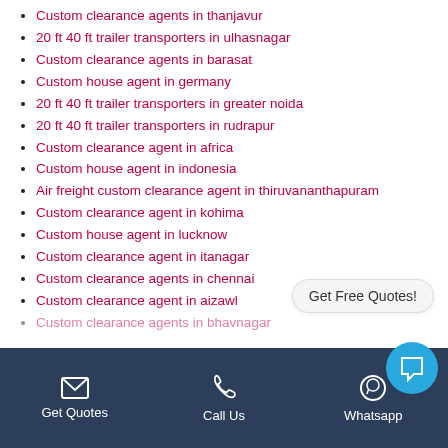Custom clearance agents in thanjavur
20 ft 40 ft trailer transporters in ulhasnagar
Custom clearance agents in barasat
Custom house agent in germany
20 ft 40 ft trailer transporters in greater noida
20 ft 40 ft trailer transporters in rudrapur
Custom clearance agent in africa
Custom house agent in indonesia
Air freight custom clearance agent in thiruvananthapuram
Custom clearance agent in kohima
Custom house agent in lucknow
Custom clearance agent in itanagar
Custom clearance agents in chennai
Custom clearance agent in aizawl
Custom clearance agents in bhavnagar
Get Quotes | Call Us | Whatsapp